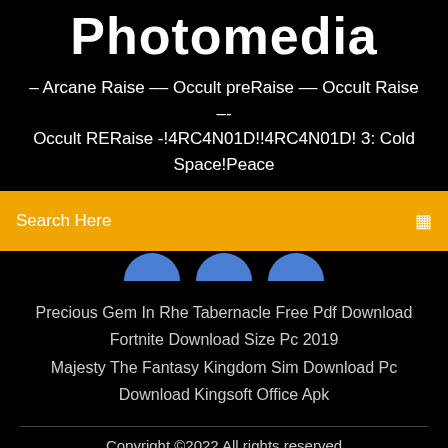Photomedia
– Arcane Raise –– Occult preRaise –– Occult Raise –- Occult RERaise -!4RC4N01D!!4RC4N01D! 3: Cold Space!Peace
Search Here
[Figure (illustration): Three blue semicircle shapes partially visible below the search bar]
Precious Gem In Rhe Tabernacle Free Pdf Download
Fortnite Download Size Pc 2019
Majesty The Fantasy Kingdom Sim Download Pc
Download Kingsoft Office Apk
Copyright ©2022 All rights reserved